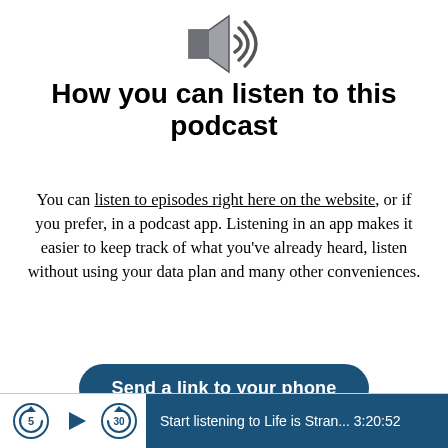[Figure (illustration): Loudspeaker / audio icon in gray and dark gray]
How you can listen to this podcast
You can listen to episodes right here on the website, or if you prefer, in a podcast app. Listening in an app makes it easier to keep track of what you've already heard, listen without using your data plan and many other conveniences.
Send a link to your phone
Start listening to Life is Stran... 3:20:52